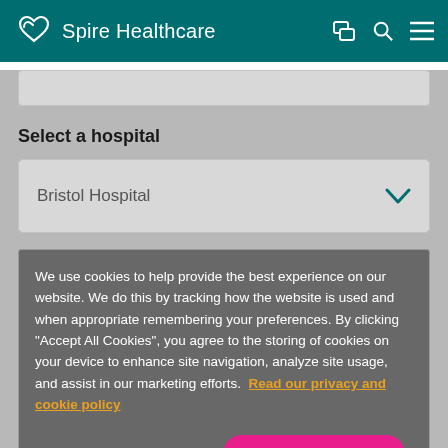Spire Healthcare
Select a hospital
Bristol Hospital
We use cookies to help provide the best experience on our website. We do this by tracking how the website is used and when appropriate remembering your preferences. By clicking "Accept All Cookies", you agree to the storing of cookies on your device to enhance site navigation, analyze site usage, and assist in our marketing efforts. Read our privacy and cookie policy
Cookies Settings
Accept All Cookies